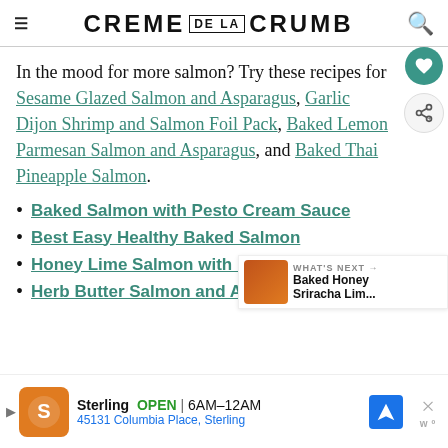CREME DE LA CRUMB
In the mood for more salmon? Try these recipes for Sesame Glazed Salmon and Asparagus, Garlic Dijon Shrimp and Salmon Foil Pack, Baked Lemon Parmesan Salmon and Asparagus, and Baked Thai Pineapple Salmon.
Baked Salmon with Pesto Cream Sauce
Best Easy Healthy Baked Salmon
Honey Lime Salmon with Mango Salsa
Herb Butter Salmon and Asparagus
[Figure (other): Advertisement bar for Sterling restaurant showing logo, open hours 6AM-12AM, address 45131 Columbia Place, Sterling, with navigation and close buttons]